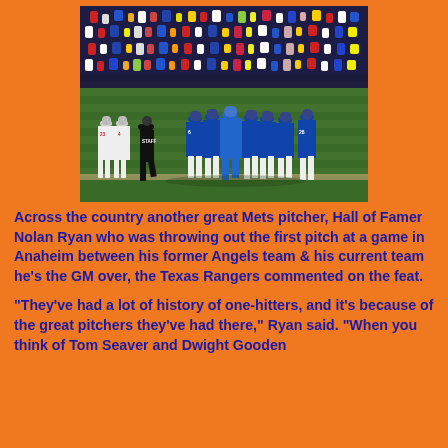[Figure (photo): Baseball players in blue and white Mets uniforms celebrating on the field in a group huddle, with a large crowd in the background and a staff member walking on the field.]
Across the country another great Mets pitcher, Hall of Famer Nolan Ryan who was throwing out the first pitch at a game in Anaheim between his former Angels team & his current team he's the GM over, the Texas Rangers commented on the feat.
"They've had a lot of history of one-hitters, and it's because of the great pitchers they've had there," Ryan said. "When you think of Tom Seaver and Dwight Gooden